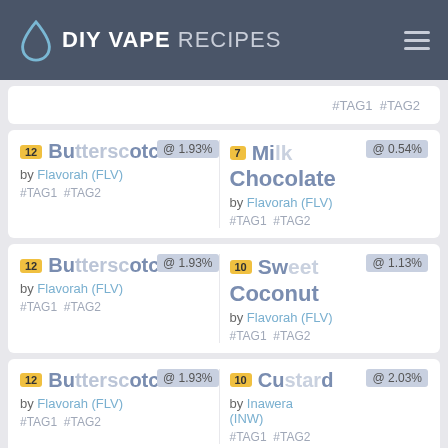DIY VAPE RECIPES
#TAG1 #TAG2
12 Butterscotch @ 1.93% by Flavorah (FLV) #TAG1 #TAG2 | 7 Milk Chocolate @ 0.54% by Flavorah (FLV) #TAG1 #TAG2
12 Butterscotch @ 1.93% by Flavorah (FLV) #TAG1 #TAG2 | 10 Sweet Coconut @ 1.13% by Flavorah (FLV) #TAG1 #TAG2
12 Butterscotch @ 1.93% by Flavorah (FLV) #TAG1 #TAG2 | 10 Custard @ 2.03% by Inawera (INW) #TAG1 #TAG2